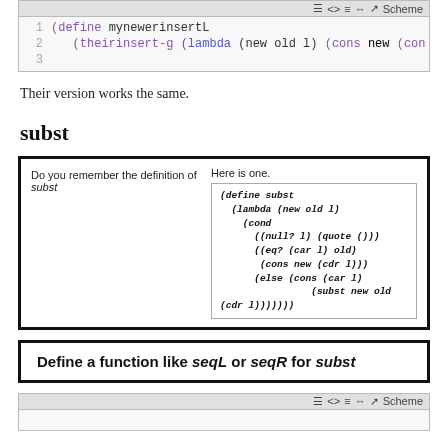[Figure (screenshot): Code editor screenshot showing Scheme code: line 1: (define mynewerinsertL, line 2: (theirinsert-g (lambda (new old l) (cons new (con...]
Their version works the same.
subst
[Figure (other): Box with two columns: left says 'Do you remember the definition of subst', right says 'Here is one.' with inner code box showing the subst definition in Scheme]
[Figure (other): Task box: Define a function like seqL or seqR for subst]
[Figure (screenshot): Bottom code editor toolbar showing Scheme label, partially visible]